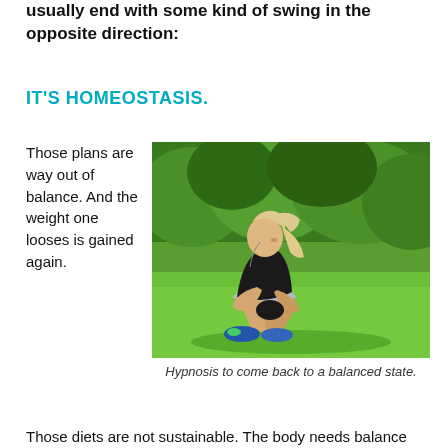usually end with some kind of swing in the opposite direction:
IT'S HOMEOSTASIS.
Those plans are way out of balance. And the weight one looses is gained again.
[Figure (photo): A fit blonde woman in black athletic wear sitting on green grass, wearing workout gloves, looking to the side.]
Hypnosis to come back to a balanced state.
Those diets are not sustainable. The body needs balance